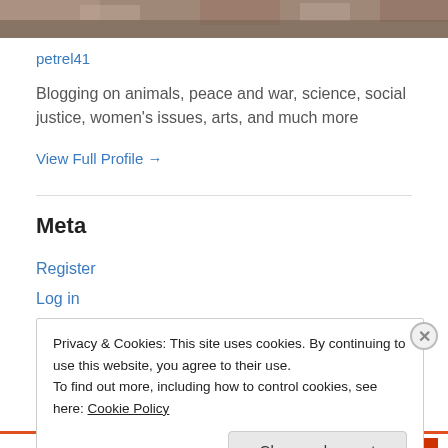[Figure (photo): Partial photo strip at the top of the page showing an animal/nature scene in muted brown tones]
petrel41
Blogging on animals, peace and war, science, social justice, women's issues, arts, and much more
View Full Profile →
Meta
Register
Log in
Privacy & Cookies: This site uses cookies. By continuing to use this website, you agree to their use.
To find out more, including how to control cookies, see here: Cookie Policy
Close and accept